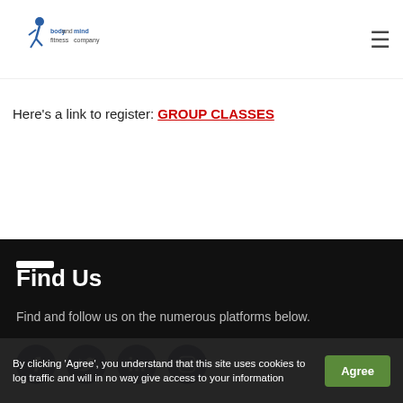[Figure (logo): Body and Mind Fitness Company logo with stylized figure]
Here's a link to register: GROUP CLASSES
Find Us
Find and follow us on the numerous platforms below.
[Figure (infographic): Social media icons: Facebook, Twitter, LinkedIn, Instagram]
By clicking 'Agree', you understand that this site uses cookies to log traffic and will in no way give access to your information